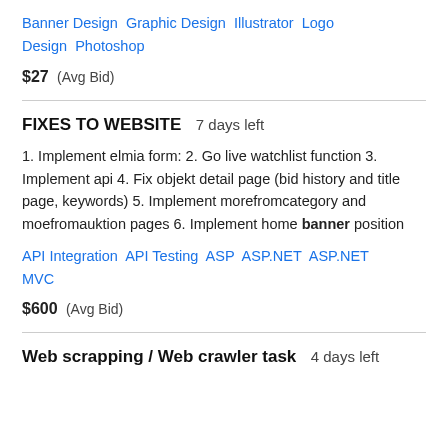Banner Design   Graphic Design   Illustrator   Logo Design   Photoshop
$27  (Avg Bid)
FIXES TO WEBSITE  7 days left
1. Implement elmia form: 2. Go live watchlist function 3. Implement api 4. Fix objekt detail page (bid history and title page, keywords) 5. Implement morefromcategory and moefromauktion pages 6. Implement home banner position
API Integration   API Testing   ASP   ASP.NET   ASP.NET MVC
$600  (Avg Bid)
Web scrapping / Web crawler task  4 days left